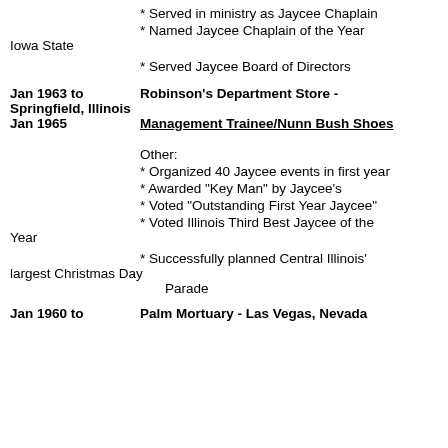* Served in ministry as Jaycee Chaplain
* Named Jaycee Chaplain of the Year Iowa State
* Served Jaycee Board of Directors
Jan 1963 to Springfield, Illinois    Robinson's Department Store -
Jan 1965    Management Trainee/Nunn Bush Shoes
Other:
* Organized 40 Jaycee events in first year
* Awarded "Key Man" by Jaycee's
* Voted "Outstanding First Year Jaycee"
* Voted Illinois Third Best Jaycee of the Year
* Successfully planned Central Illinois' largest Christmas Day Parade
Jan 1960 to    Palm Mortuary - Las Vegas, Nevada